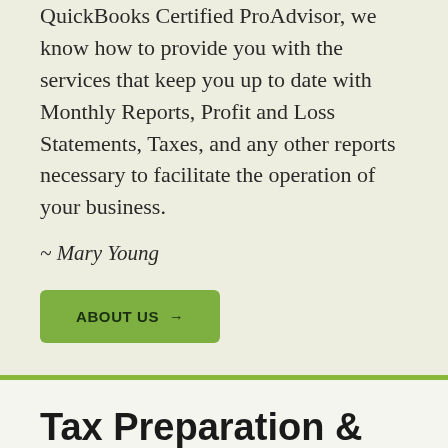QuickBooks Certified ProAdvisor, we know how to provide you with the services that keep you up to date with Monthly Reports, Profit and Loss Statements, Taxes, and any other reports necessary to facilitate the operation of your business.
~ Mary Young
ABOUT US →
Tax Preparation & Accounting
“Keeping the books” is a phrase that often evokes fear in business owners. While